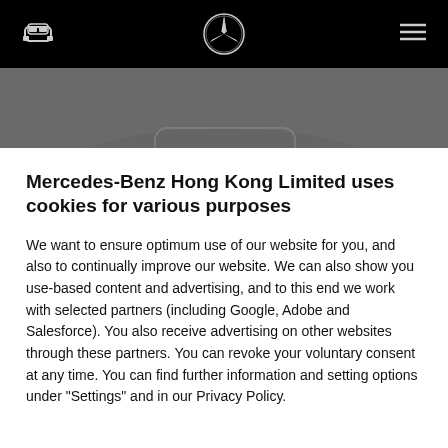Mercedes-Benz website header with logo and navigation icons
[Figure (screenshot): Dark background showing part of a Mercedes-Benz vehicle, partially obscured by a cookie consent dialog]
Mercedes-Benz Hong Kong Limited uses cookies for various purposes
We want to ensure optimum use of our website for you, and also to continually improve our website. We can also show you use-based content and advertising, and to this end we work with selected partners (including Google, Adobe and Salesforce). You also receive advertising on other websites through these partners. You can revoke your voluntary consent at any time. You can find further information and setting options under "Settings" and in our Privacy Policy.